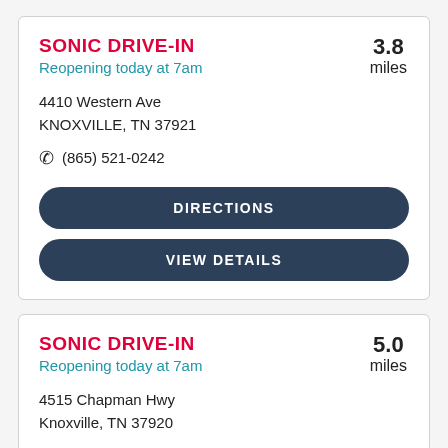SONIC DRIVE-IN
Reopening today at 7am
3.8 miles
4410 Western Ave
KNOXVILLE, TN 37921
(865) 521-0242
DIRECTIONS
VIEW DETAILS
SONIC DRIVE-IN
Reopening today at 7am
5.0 miles
4515 Chapman Hwy
Knoxville, TN 37920